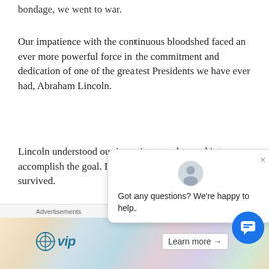bondage, we went to war.
Our impatience with the continuous bloodshed faced an ever more powerful force in the commitment and dedication of one of the greatest Presidents we have ever had, Abraham Lincoln.
Lincoln understood our impatience and turned it to accomplish the goal. It was our most costly war, yet we survived.
In 1939, the world plu[nged into another terrible] conflagration. Our im[patience and the memory] of the depression caused us to turn away from the
[Figure (screenshot): Chat support popup with avatar icon and text 'Got any questions? We’re happy to help.' with close button]
[Figure (screenshot): Advertisement bar with WordPress VIP logo, colorful background suggesting tech brands, and 'Learn more →' button]